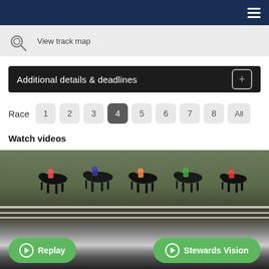Navigation menu
View track map
Additional details & deadlines
Race 1 2 3 4 5 6 7 8 All
Watch videos
[Figure (photo): Horse racing video thumbnail showing multiple jockeys racing on horses at a racetrack, with green buttons for Replay and Stewards Vision at the bottom]